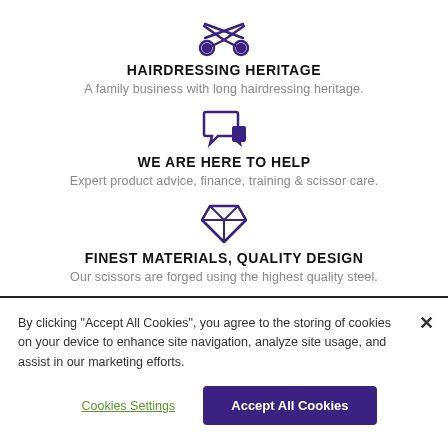[Figure (illustration): Purple scissors icon]
HAIRDRESSING HERITAGE
A family business with long hairdressing heritage.
[Figure (illustration): Purple speech/chat bubble icon]
WE ARE HERE TO HELP
Expert product advice, finance, training & scissor care.
[Figure (illustration): Purple diamond gem icon]
FINEST MATERIALS, QUALITY DESIGN
Our scissors are forged using the highest quality steel.
By clicking “Accept All Cookies”, you agree to the storing of cookies on your device to enhance site navigation, analyze site usage, and assist in our marketing efforts.
Cookies Settings
Accept All Cookies